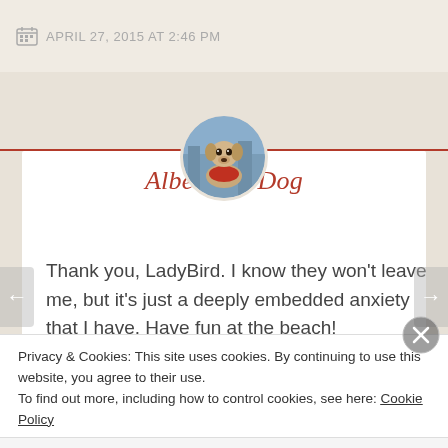APRIL 27, 2015 AT 2:46 PM
[Figure (photo): Circular avatar photo of a dog (Albert the Dog) wearing a red harness, outdoors with buildings in the background.]
Albert the Dog
Thank you, LadyBird. I know they won't leave me, but it's just a deeply embedded anxiety that I have. Have fun at the beach!
Privacy & Cookies: This site uses cookies. By continuing to use this website, you agree to their use.
To find out more, including how to control cookies, see here: Cookie Policy
Close and accept